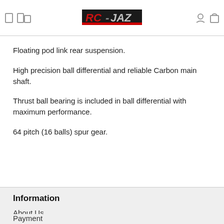[Figure (logo): RCJAZ logo with red and silver stylized text on white background]
Floating pod link rear suspension.
High precision ball differential and reliable Carbon main shaft.
Thrust ball bearing is included in ball differential with maximum performance.
64 pitch (16 balls) spur gear.
Information
About Us
Payment
Privacy
Terms and Conditions
Shipping and returns
Brands in our shop
Customer Service